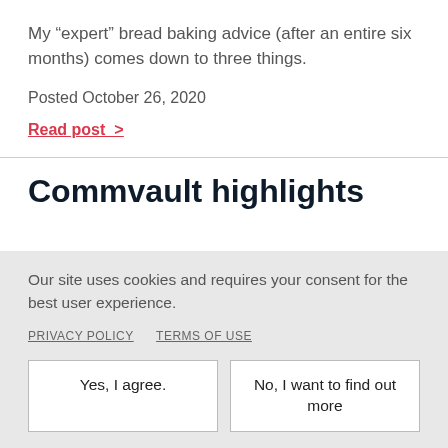My “expert” bread baking advice (after an entire six months) comes down to three things.
Posted October 26, 2020
Read post >
Commvault highlights
Our site uses cookies and requires your consent for the best user experience.
PRIVACY POLICY   TERMS OF USE
Yes, I agree.
No, I want to find out more